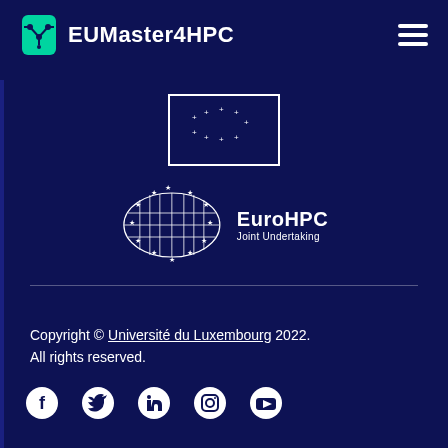[Figure (logo): EUMaster4HPC logo with teal circuit-board icon and white text on dark navy background, with hamburger menu icon on the right]
[Figure (logo): European Union flag logo - partial outline showing stars on a rectangular frame]
[Figure (logo): EuroHPC Joint Undertaking logo with circular star pattern around a grid/server-like emblem and 'EuroHPC Joint Undertaking' text]
Copyright © Université du Luxembourg 2022. All rights reserved.
[Figure (logo): Social media icons: Facebook, Twitter, LinkedIn, Instagram, YouTube]